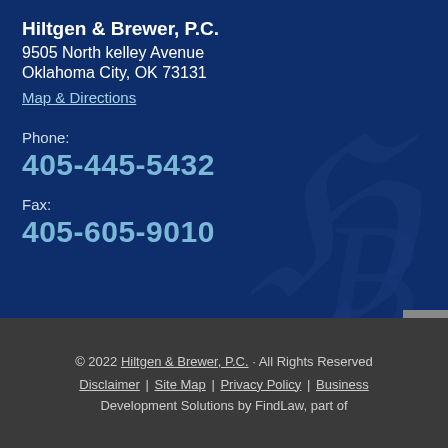Hiltgen & Brewer, P.C.
9505 North kelley Avenue
Oklahoma City, OK 73131
Map & Directions
Phone:
405-445-5432
Fax:
405-605-9010
© 2022 Hiltgen & Brewer, P.C. · All Rights Reserved
Disclaimer | Site Map | Privacy Policy | Business Development Solutions by FindLaw, part of